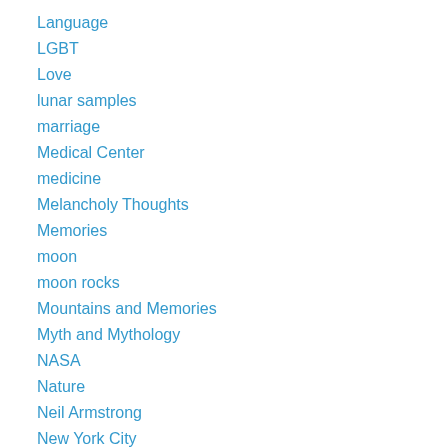Language
LGBT
Love
lunar samples
marriage
Medical Center
medicine
Melancholy Thoughts
Memories
moon
moon rocks
Mountains and Memories
Myth and Mythology
NASA
Nature
Neil Armstrong
New York City
non-fiction
North Country Life
Objects of Beauty